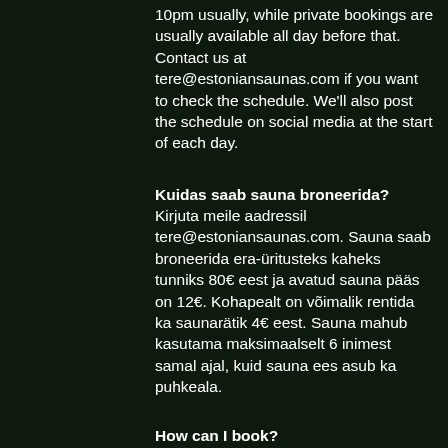10pm usually, while private bookings are usually available all day before that. Contact us at tere@estoniansaunas.com if you want to check the schedule. We'll also post the schedule on social media at the start of each day.
Kuidas saab sauna broneerida?
Kirjuta meile aadressil tere@estoniansaunas.com. Sauna saab broneerida era-üritusteks kaheks tunniks 80€ eest ja avatud sauna pääs on 12€. Kohapealt on võimalik rentida ka saunarätik 4€ eest. Sauna mahub kasutama maksimaalselt 6 inimest samal ajal, kuid sauna ees asub ka puhkeala.
How can I book?